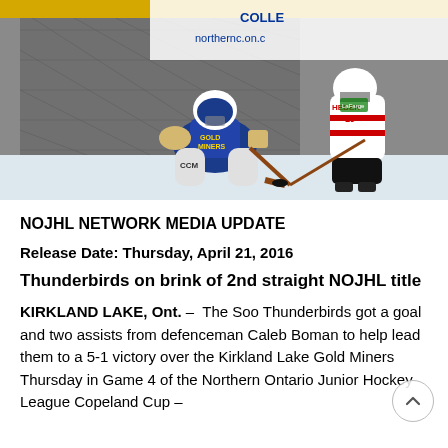[Figure (photo): Hockey game action photo: a goaltender in blue and gold (Gold Miners) in butterfly position at the net, while a player in white and red (Thunderbirds, number 19) approaches with a hockey stick. Background shows arena boards and a Northern College advertisement.]
NOJHL NETWORK MEDIA UPDATE
Release Date: Thursday, April 21, 2016
Thunderbirds on brink of 2nd straight NOJHL title
KIRKLAND LAKE, Ont. –  The Soo Thunderbirds got a goal and two assists from defenceman Caleb Boman to help lead them to a 5-1 victory over the Kirkland Lake Gold Miners Thursday in Game 4 of the Northern Ontario Junior Hockey League Copeland Cup –